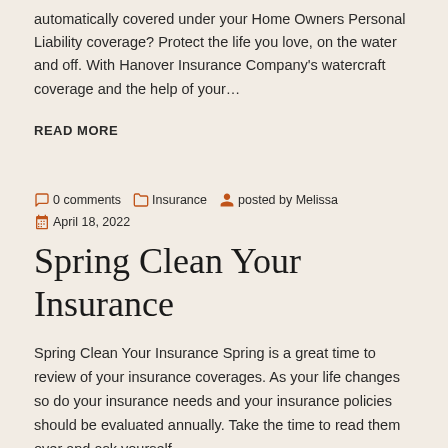automatically covered under your Home Owners Personal Liability coverage? Protect the life you love, on the water and off. With Hanover Insurance Company's watercraft coverage and the help of your…
READ MORE
0 comments   Insurance   posted by Melissa   April 18, 2022
Spring Clean Your Insurance
Spring Clean Your Insurance Spring is a great time to review of your insurance coverages. As your life changes so do your insurance needs and your insurance policies should be evaluated annually. Take the time to read them over and ask yourself…